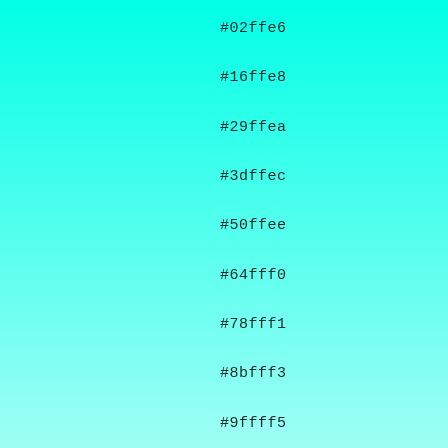#02ffe6
#16ffe8
#29ffea
#3dffec
#50ffee
#64fff0
#78fff1
#8bfff3
#9ffff5